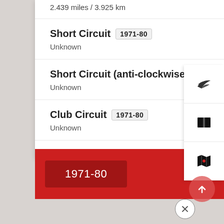2.439 miles / 3.925 km
Short Circuit 1971-80
Unknown
Short Circuit (anti-clockwise) 1971-80
Unknown
Club Circuit 1971-80
Unknown
1971-80